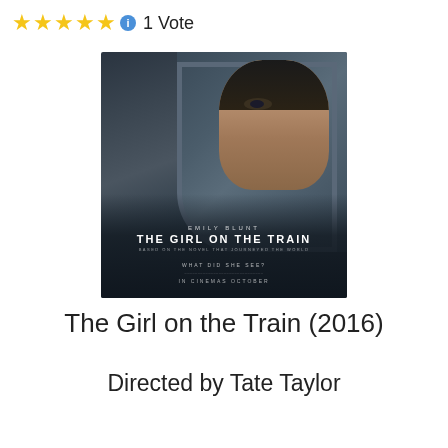★★★★★ ℹ 1 Vote
[Figure (photo): Movie poster for 'The Girl on the Train' (2016) featuring Emily Blunt looking through a train window, with text 'EMILY BLUNT', 'THE GIRL ON THE TRAIN', 'BASED ON THE NOVEL THAT JOUNEYED THE WORLD', 'WHAT DID SHE SEE?', 'IN CINEMAS OCTOBER']
The Girl on the Train (2016)
Directed by Tate Taylor